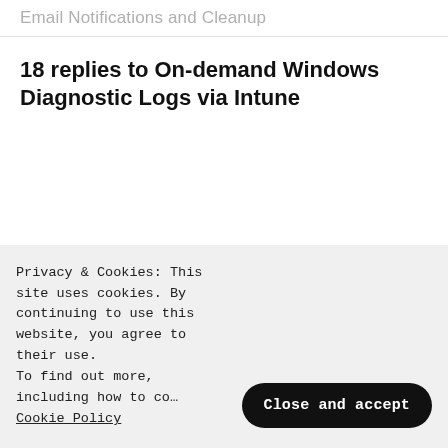Email Notifications and Cleanup
18 replies to On-demand Windows Diagnostic Logs via Intune
[Figure (illustration): Orange/brown colored avatar icon made of dots and arrows, representing the user Rkast]
Rkast
April 24, 2019 at 7:03 pm
Privacy & Cookies: This site uses cookies. By continuing to use this website, you agree to their use.
To find out more, including how to co… Cookie Policy
Close and accept